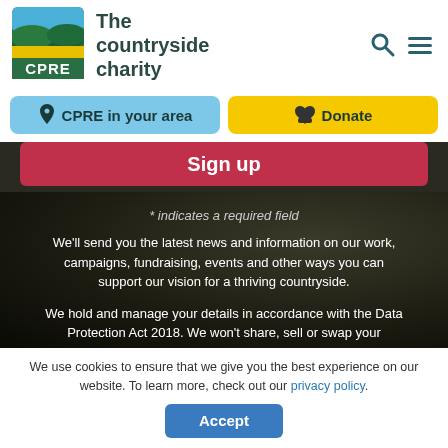[Figure (logo): CPRE logo - green rounded square with rolling hills, yellow band, CPRE text]
The countryside charity
CPRE in your area
Donate
Sign up
* indicates a required field
We'll send you the latest news and information on our work, campaigns, fundraising, events and other ways you can support our vision for a thriving countryside.
We hold and manage your details in accordance with the Data Protection Act 2018. We won't share, sell or swap your
We use cookies to ensure that we give you the best experience on our website. To learn more, check out our privacy policy.
Accept